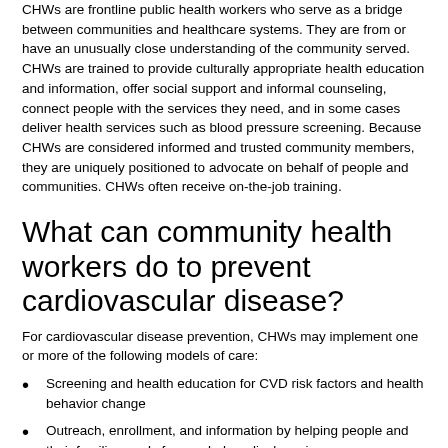CHWs are frontline public health workers who serve as a bridge between communities and healthcare systems. They are from or have an unusually close understanding of the community served. CHWs are trained to provide culturally appropriate health education and information, offer social support and informal counseling, connect people with the services they need, and in some cases deliver health services such as blood pressure screening. Because CHWs are considered informed and trusted community members, they are uniquely positioned to advocate on behalf of people and communities. CHWs often receive on-the-job training.
What can community health workers do to prevent cardiovascular disease?
For cardiovascular disease prevention, CHWs may implement one or more of the following models of care:
Screening and health education for CVD risk factors and health behavior change
Outreach, enrollment, and information by helping people and their families apply for needed medical services
Team-based care by working with patients and licensed providers such as nurses and pharmacists
Patient navigation by helping people navigate complex medical services systems
Community organization by helping with community development and by serving as a link between the community and healthcare